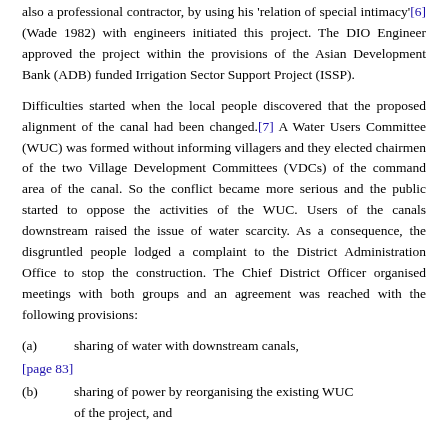also a professional contractor, by using his 'relation of special intimacy'[6] (Wade 1982) with engineers initiated this project. The DIO Engineer approved the project within the provisions of the Asian Development Bank (ADB) funded Irrigation Sector Support Project (ISSP).
Difficulties started when the local people discovered that the proposed alignment of the canal had been changed.[7] A Water Users Committee (WUC) was formed without informing villagers and they elected chairmen of the two Village Development Committees (VDCs) of the command area of the canal. So the conflict became more serious and the public started to oppose the activities of the WUC. Users of the canals downstream raised the issue of water scarcity. As a consequence, the disgruntled people lodged a complaint to the District Administration Office to stop the construction. The Chief District Officer organised meetings with both groups and an agreement was reached with the following provisions:
(a)    sharing of water with downstream canals,
[page 83]
(b)    sharing of power by reorganising the existing WUC of the project, and